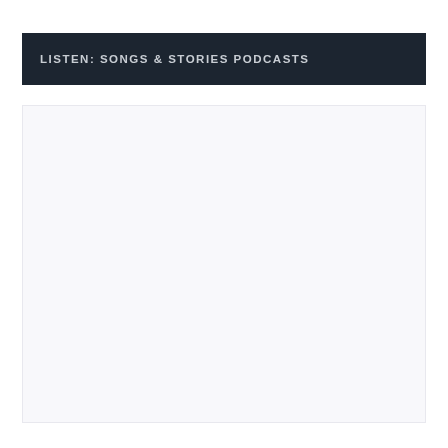LISTEN: SONGS & STORIES PODCASTS
[Figure (other): Large empty content area with light gray/white background, representing a blank podcast listing or media embed region.]